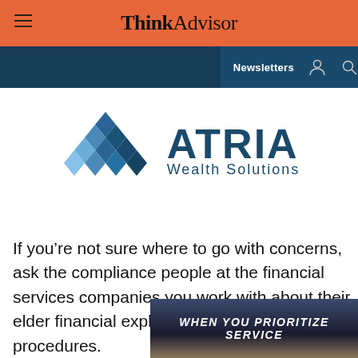ThinkAdvisor
[Figure (logo): Atria Wealth Solutions logo with blue diamond grid pyramid icon and text 'ATRIA Wealth Solutions']
If you’re not sure where to go with concerns, ask the compliance people at the financial services companies you work with about their elder financial exploitation suspicion reporting procedures.
[Figure (other): Advertisement overlay banner with text 'WHEN YOU PRIORITIZE SERVICE' over a mountain/sunset background]